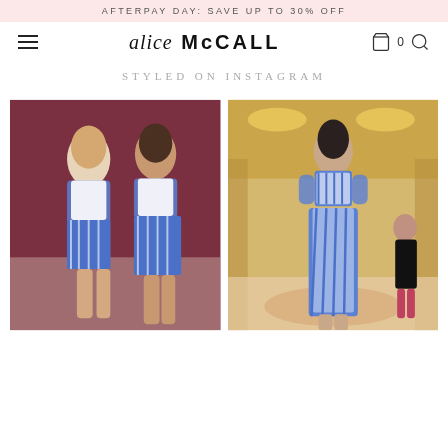AFTERPAY DAY: SAVE UP TO 30% OFF
alice McCALL
STYLED ON INSTAGRAM
[Figure (photo): Two female models wearing matching blue and white floral print two-piece sets (crop top and maxi skirt) against a dark mauve/burgundy background.]
[Figure (photo): Female model on a runway wearing a blue and white floral print two-piece set (crop top and midi skirt), with ornate gold chandelier venue visible in background.]